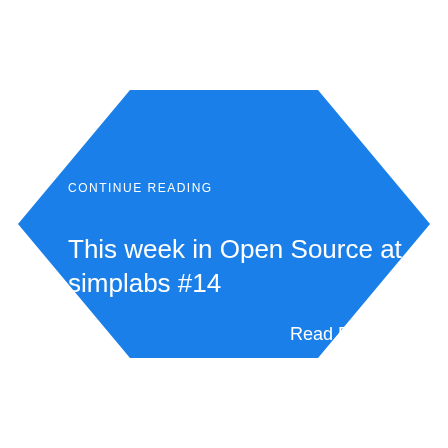[Figure (illustration): Blue hexagon shape containing text: 'CONTINUE READING' as a label, title 'This week in Open Source at simplabs #14', and 'Read Post →' link, on white background]
CONTINUE READING
This week in Open Source at simplabs #14
Read Post →